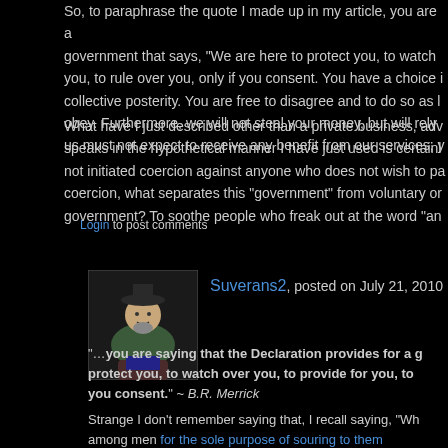So, to paraphrase the quote I made up in my article, you are a government that says, "We are here to protect you, to watch you, to rule over you, only if you consent. You have a choice i collective posterity. You are free to disagree and to do so as l obey. Furthermore, we will not steal your money, but will rely us must not expect to receive any benefit from our services; y
What have I just described other than a private business, adv speaks in the hypothetical manner I have just used is certainl not initiated coercion against anyone who does not wish to pa coercion, what separates this "government" from voluntary or government? To soothe people who freak out at the word "an
Login to post comments
Suverans2, posted on July 21, 2010
[Figure (illustration): User avatar image for Suverans2 showing a cartoon/illustration character]
"...you are saying that the Declaration provides for a g protect you, to watch over you, to provide for you, to you consent." ~ B.R. Merrick
Strange I don't remember saying that, I recall saying, "Wh among men for the sole purpose of souring to them